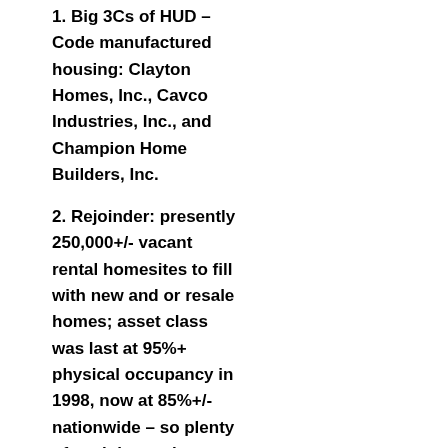1. Big 3Cs of HUD – Code manufactured housing: Clayton Homes, Inc., Cavco Industries, Inc., and Champion Home Builders, Inc.
2. Rejoinder: presently 250,000+/- vacant rental homesites to fill with new and or resale homes; asset class was last at 95%+ physical occupancy in 1998, now at 85%+/- nationwide – so plenty of such homesites available now, and in